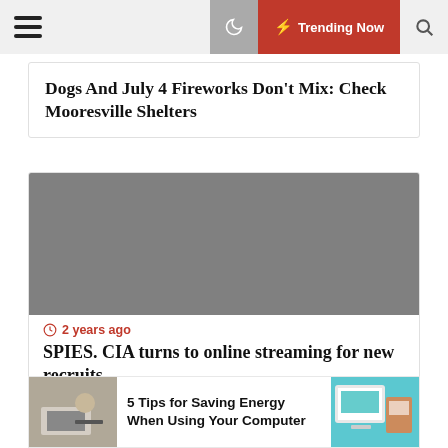Trending Now
Dogs And July 4 Fireworks Don't Mix: Check Mooresville Shelters
[Figure (photo): Gray placeholder image for article about CIA online streaming]
2 years ago
SPIES. CIA turns to online streaming for new recruits
[Figure (photo): Thumbnail image left: person using laptop/computer]
5 Tips for Saving Energy When Using Your Computer
[Figure (photo): Thumbnail image right: laptop with storefront background]